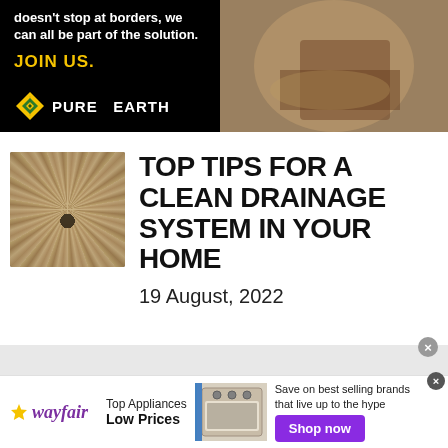[Figure (photo): Pure Earth advertisement with dark background, text 'doesn't stop at borders, we can all be part of the solution. JOIN US.' and Pure Earth logo on left; photo of person working with straw/hay on right]
[Figure (photo): Close-up sepia/monochrome photo of a spiral drain]
TOP TIPS FOR A CLEAN DRAINAGE SYSTEM IN YOUR HOME
19 August, 2022
[Figure (photo): Wayfair advertisement: Top Appliances Low Prices, image of stove/range, Save on best selling brands that live up to the hype, Shop now button]